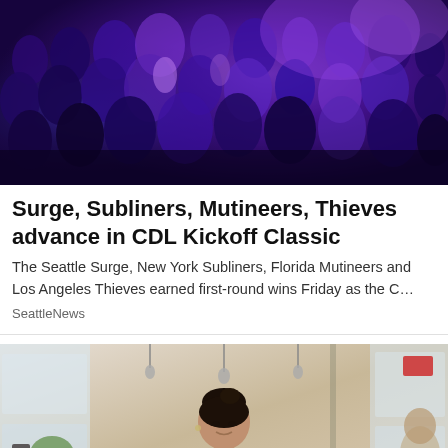[Figure (photo): Crowd of people seated in an arena or event venue illuminated with purple/blue stage lighting, likely an esports event]
Surge, Subliners, Mutineers, Thieves advance in CDL Kickoff Classic
The Seattle Surge, New York Subliners, Florida Mutineers and Los Angeles Thieves earned first-round wins Friday as the C…
SeattleNews
[Figure (photo): A young woman with dark hair pulled back, wearing a striped shirt, working at a desk in a bright cafe or office setting with plants visible in the background]